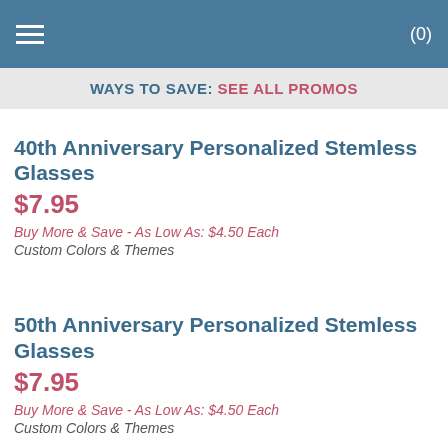(0)
WAYS TO SAVE: SEE ALL PROMOS
40th Anniversary Personalized Stemless Glasses
$7.95
Buy More & Save - As Low As: $4.50 Each
Custom Colors & Themes
50th Anniversary Personalized Stemless Glasses
$7.95
Buy More & Save - As Low As: $4.50 Each
Custom Colors & Themes
Mis Quince Personalized Glasses
$7.95
Buy More & Save - As Low As: $4.50 Each